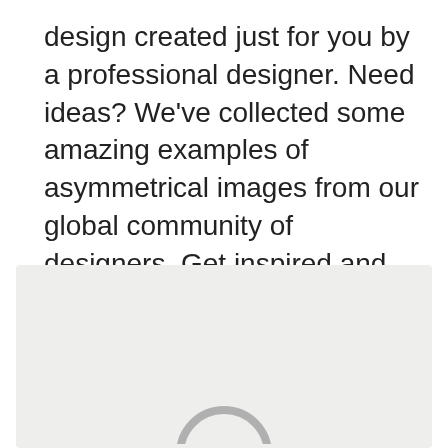design created just for you by a professional designer. Need ideas? We've collected some amazing examples of asymmetrical images from our global community of designers. Get inspired and start planning the perfect asymmetrical design today.
[Figure (other): Light gray placeholder image box with a partially visible circular icon at the bottom center]